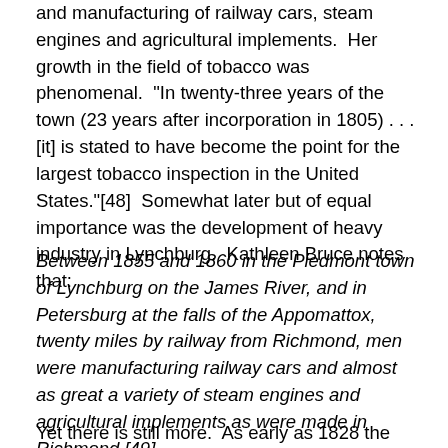and manufacturing of railway cars, steam engines and agricultural implements.  Her growth in the field of tobacco was phenomenal.  "In twenty-three years of the town (23 years after incorporation in 1805) . . . [it] is stated to have become the point for the largest tobacco inspection in the United States."[48]  Somewhat later but of equal importance was the development of heavy industry in Lynchburg.  Kathleen Bruce notes that:
Between 1855 and 1860 in the Piedmont town of Lynchburg on the James River, and in Petersburg at the falls of the Appomattox, twenty miles by railway from Richmond, men were manufacturing railway cars and almost as great a variety of steam engines and agricultural implements as were made in Richmond.[49]
Yet there is still more.  As early as 1828 the Lynchburg